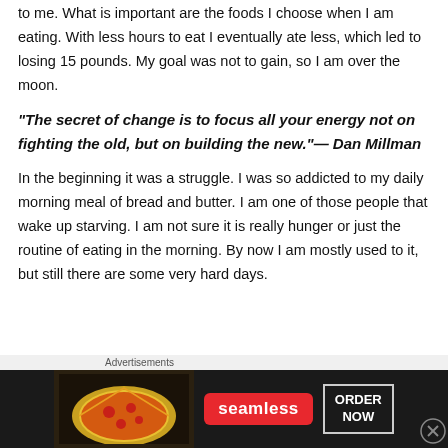to me. What is important are the foods I choose when I am eating.  With less hours to eat I eventually ate less, which led to losing 15 pounds. My goal was not to gain, so I am over the moon.
“The secret of change is to focus all your energy not on fighting the old, but on building the new.”— Dan Millman
In the beginning it was a struggle. I was so addicted to my daily morning meal of bread and butter.  I am one of those people that wake up starving.  I am not sure it is really hunger or just the routine of eating in the morning.  By now I am mostly used to it, but still there are some very hard days.
Advertisements
[Figure (other): Seamless food delivery advertisement banner showing pizza image on left, red Seamless logo in center, and ORDER NOW button on right, on dark background.]